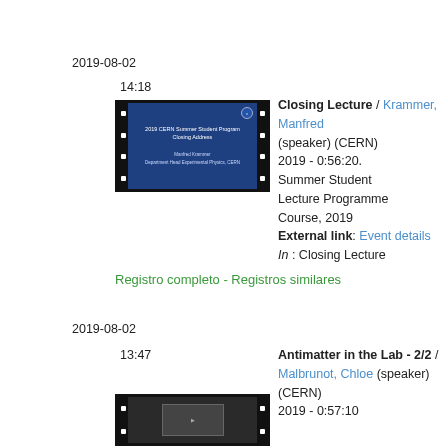2019-08-02
14:18
[Figure (screenshot): Thumbnail of 2019 CERN Summer Student Program Closing Address video, dark blue slide with CERN logo and speaker name Manfred Krammer]
Closing Lecture / Krammer, Manfred (speaker) (CERN) 2019 - 0:56:20. Summer Student Lecture Programme Course, 2019 External link: Event details In : Closing Lecture
Registro completo - Registros similares
2019-08-02
13:47
Antimatter in the Lab - 2/2 / Malbrunot, Chloe (speaker) (CERN) 2019 - 0:57:10
[Figure (screenshot): Thumbnail of Antimatter in the Lab 2/2 lecture video, dark frame with partial slide visible]